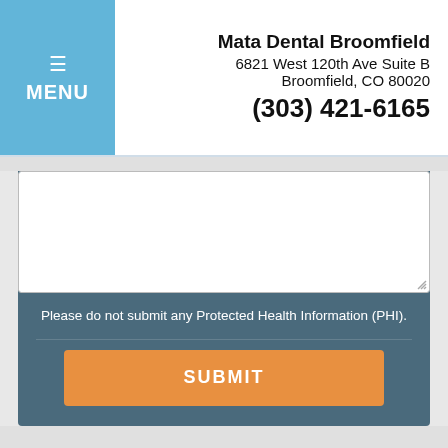MENU
Mata Dental Broomfield
6821 West 120th Ave Suite B
Broomfield, CO 80020
(303) 421-6165
Please do not submit any Protected Health Information (PHI).
SUBMIT
OUR LOCATIONS
Accessibility View